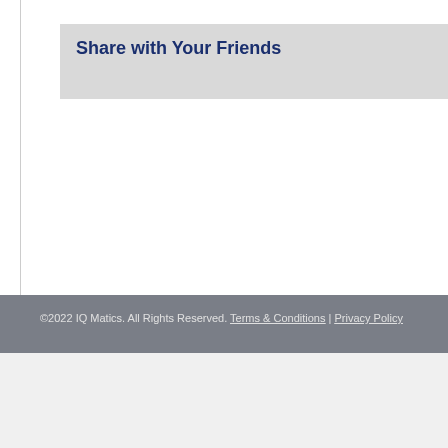Share with Your Friends
©2022 IQ Matics. All Rights Reserved. Terms & Conditions | Privacy Policy